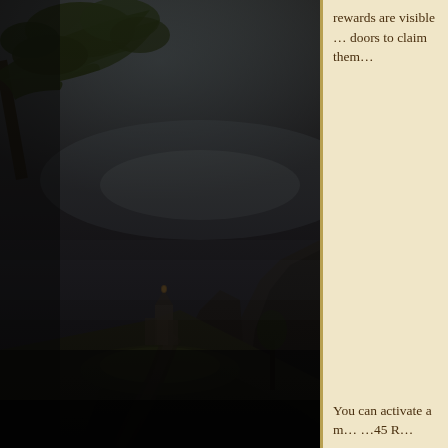[Figure (illustration): A dark fantasy game scene showing a misty landscape with a castle/tower structure in the middle distance, large rocks, trees with overhanging branches in the upper left, and a winding path leading toward the structures. The scene is very dark with a twilight or night atmosphere.]
rewards are visible … doors to claim them…
You can activate a m… …45 R…